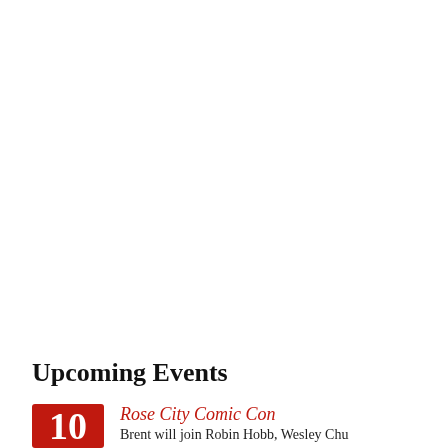Buy the Book
Upcoming Events
Rose City Comic Con
Brent will join Robin Hobb, Wesley Chu